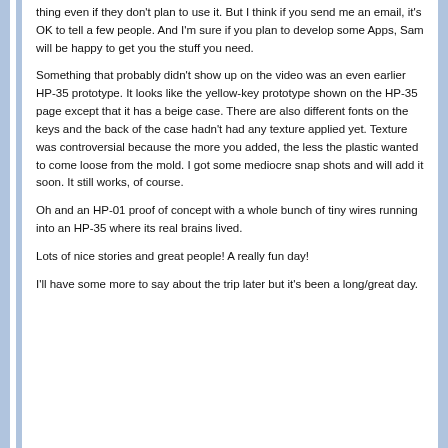thing even if they don't plan to use it. But I think if you send me an email, it's OK to tell a few people. And I'm sure if you plan to develop some Apps, Sam will be happy to get you the stuff you need.
Something that probably didn't show up on the video was an even earlier HP-35 prototype. It looks like the yellow-key prototype shown on the HP-35 page except that it has a beige case. There are also different fonts on the keys and the back of the case hadn't had any texture applied yet. Texture was controversial because the more you added, the less the plastic wanted to come loose from the mold. I got some mediocre snap shots and will add it soon. It still works, of course.
Oh and an HP-01 proof of concept with a whole bunch of tiny wires running into an HP-35 where its real brains lived.
Lots of nice stories and great people! A really fun day!
I'll have some more to say about the trip later but it's been a long/great day.